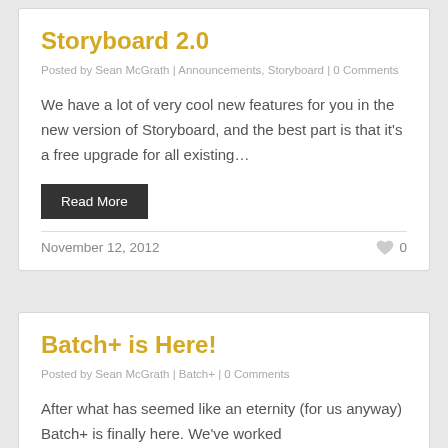Storyboard 2.0
Posted by Sean McGrath | Announcements, Storyboard | 0 Comments
We have a lot of very cool new features for you in the new version of Storyboard, and the best part is that it's a free upgrade for all existing…
Read More
November 12, 2012
Batch+ is Here!
Posted by Sean McGrath | Batch+ | 0 Comments
After what has seemed like an eternity (for us anyway) Batch+ is finally here. We've worked